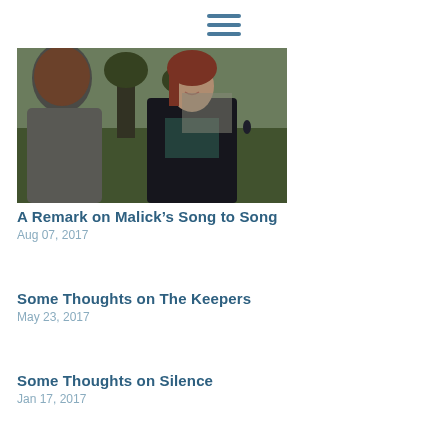[Figure (other): Hamburger menu icon with three horizontal lines in teal/dark blue color]
[Figure (photo): Movie still showing two people talking outdoors in a park. A man with reddish beard in grey t-shirt faces a woman in a dark leather jacket. Background shows trees, grass, and people in the distance. Scene from Malick's Song to Song.]
A Remark on Malick’s Song to Song
Aug 07, 2017
Some Thoughts on The Keepers
May 23, 2017
Some Thoughts on Silence
Jan 17, 2017